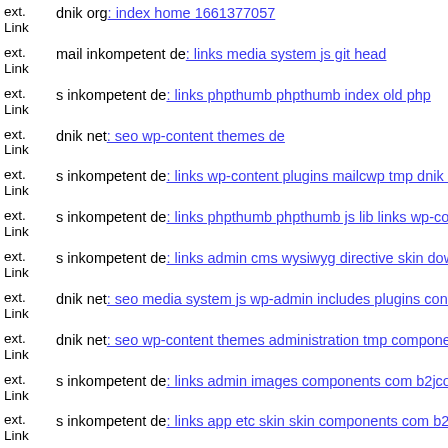ext. Link dnik org: index home 1661377057
ext. Link mail inkompetent de: links media system js git head
ext. Link s inkompetent de: links phpthumb phpthumb index old php
ext. Link dnik net: seo wp-content themes de
ext. Link s inkompetent de: links wp-content plugins mailcwp tmp dnik n...
ext. Link s inkompetent de: links phpthumb phpthumb js lib links wp-co...
ext. Link s inkompetent de: links admin cms wysiwyg directive skin dow...
ext. Link dnik net: seo media system js wp-admin includes plugins conte...
ext. Link dnik net: seo wp-content themes administration tmp componen...
ext. Link s inkompetent de: links admin images components com b2jcon...
ext. Link s inkompetent de: links app etc skin skin components com b2jc...
ext. Link s inkompetent de: links wp-content api downloader component...